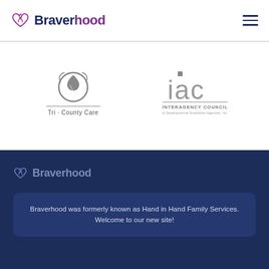Braverhood
[Figure (logo): Tri·County Care logo — circular flame/person icon above text 'Tri · County Care']
[Figure (logo): IAC Interagency Council of Developmental Disabilities Agencies Inc. logo]
[Figure (logo): Braverhood footer logo in muted blue-grey]
Braverhood was formerly known as Hand in Hand Family Services. Welcome to our new site!